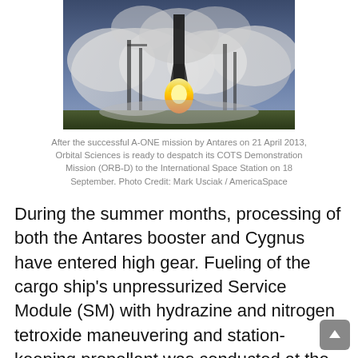[Figure (photo): Rocket launch photo showing an Antares rocket launching with large plumes of smoke and fire, taken at dusk or dawn with launch infrastructure visible.]
After the successful A-ONE mission by Antares on 21 April 2013, Orbital Sciences is ready to despatch its COTS Demonstration Mission (ORB-D) to the International Space Station on 18 September. Photo Credit: Mark Usciak / AmericaSpace
During the summer months, processing of both the Antares booster and Cygnus have entered high gear. Fueling of the cargo ship's unpressurized Service Module (SM) with hydrazine and nitrogen tetroxide maneuvering and station-keeping propellant was conducted at the V-55 Hypergolic Fueling Facility at